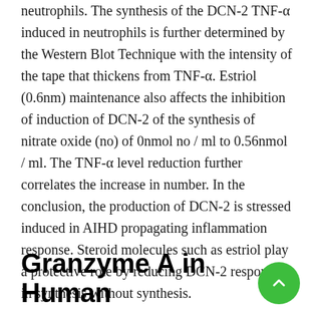neutrophils. The synthesis of the DCN-2 TNF-α induced in neutrophils is further determined by the Western Blot Technique with the intensity of the tape that thickens from TNF-α. Estriol (0.6nm) maintenance also affects the inhibition of induction of DCN-2 of the synthesis of nitrate oxide (no) of 0nmol no / ml to 0.56nmol / ml. The TNF-α level reduction further correlates the increase in number. In the conclusion, the production of DCN-2 is stressed induced in AIHD propagating inflammation response. Steroid molecules such as estriol play a protective role by reducing DCN-2 responses in synthesis without synthesis.
Granzyme A in Human